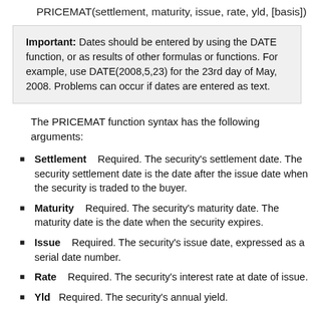PRICEMAT(settlement, maturity, issue, rate, yld, [basis])
Important: Dates should be entered by using the DATE function, or as results of other formulas or functions. For example, use DATE(2008,5,23) for the 23rd day of May, 2008. Problems can occur if dates are entered as text.
The PRICEMAT function syntax has the following arguments:
Settlement    Required. The security's settlement date. The security settlement date is the date after the issue date when the security is traded to the buyer.
Maturity    Required. The security's maturity date. The maturity date is the date when the security expires.
Issue    Required. The security's issue date, expressed as a serial date number.
Rate    Required. The security's interest rate at date of issue.
Yld    Required. The security's annual yield.